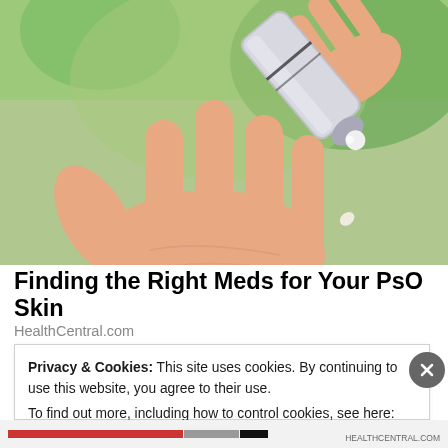[Figure (photo): A hand with open palm receiving cream or gel being dispensed from a silver tube/roller, with a blurred green outdoor background.]
Finding the Right Meds for Your PsO Skin
HealthCentral.com
Privacy & Cookies: This site uses cookies. By continuing to use this website, you agree to their use.
To find out more, including how to control cookies, see here: Cookie Policy
Close and accept